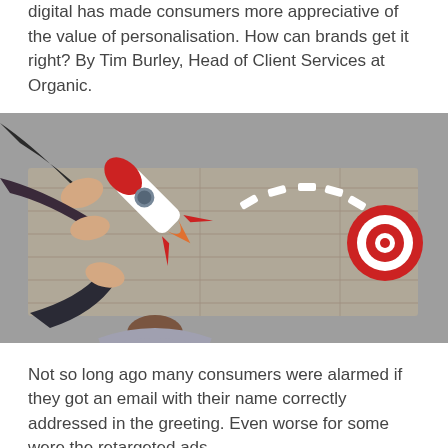digital has made consumers more appreciative of the value of personalisation. How can brands get it right? By Tim Burley, Head of Client Services at Organic.
[Figure (photo): Aerial/top-down view of several people around a wooden plank table, collaborating around a red-and-white rocket cutout pointing toward a red bullseye target, with small white rectangular pieces scattered in a dotted arc between the rocket and target.]
Not so long ago many consumers were alarmed if they got an email with their name correctly addressed in the greeting. Even worse for some were the retargeted ads